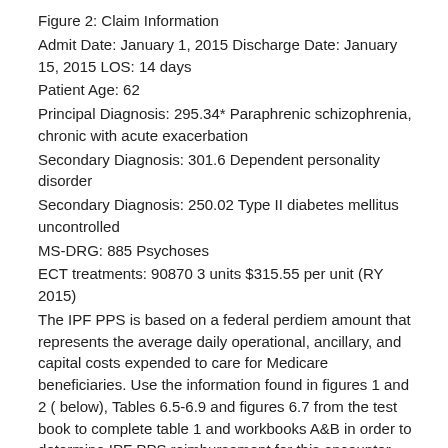Figure 2: Claim Information
Admit Date: January 1, 2015 Discharge Date: January 15, 2015 LOS: 14 days
Patient Age: 62
Principal Diagnosis: 295.34* Paraphrenic schizophrenia, chronic with acute exacerbation
Secondary Diagnosis: 301.6 Dependent personality disorder
Secondary Diagnosis: 250.02 Type II diabetes mellitus uncontrolled
MS-DRG: 885 Psychoses
ECT treatments: 90870 3 units $315.55 per unit (RY 2015)
The IPF PPS is based on a federal perdiem amount that represents the average daily operational, ancillary, and capital costs expended to care for Medicare beneficiaries. Use the information found in figures 1 and 2 ( below), Tables 6.5-6.9 and figures 6.7 from the test book to complete table 1 and workbooks A&B in order to determine IPF PPS reimbursement for this encounter.
Figure 1: Facility Information
Bed size: 350 beds Location: Columbus, Ohio